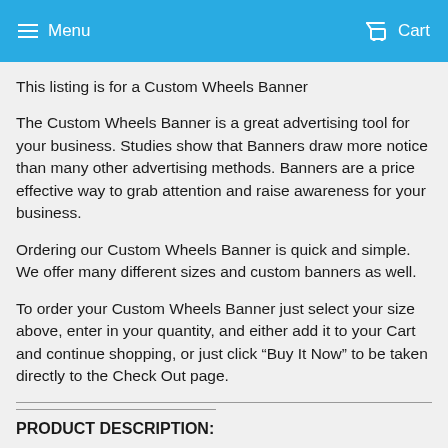Menu  Cart
This listing is for a Custom Wheels Banner
The Custom Wheels Banner is a great advertising tool for your business. Studies show that Banners draw more notice than many other advertising methods. Banners are a price effective way to grab attention and raise awareness for your business.
Ordering our Custom Wheels Banner is quick and simple. We offer many different sizes and custom banners as well.
To order your Custom Wheels Banner just select your size above, enter in your quantity, and either add it to your Cart and continue shopping, or just click “Buy It Now” to be taken directly to the Check Out page.
PRODUCT DESCRIPTION: